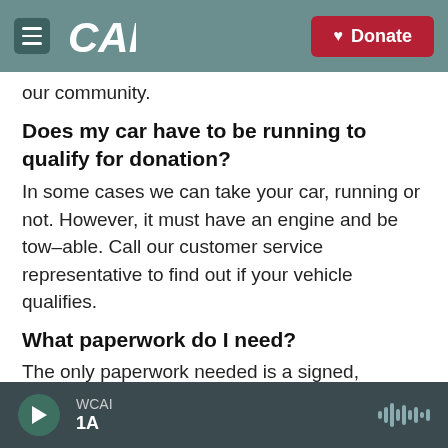[Figure (screenshot): CAI public radio website navigation bar with hamburger menu icon, CAI logo, and red Donate button]
our community.
Does my car have to be running to qualify for donation?
In some cases we can take your car, running or not. However, it must have an engine and be tow-able. Call our customer service representative to find out if your vehicle qualifies.
What paperwork do I need?
The only paperwork needed is a signed,
WCAI  1A